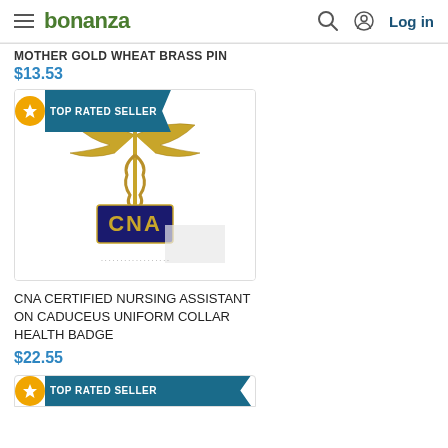bonanza  Log in
MOTHER GOLD WHEAT BRASS PIN
$13.53
[Figure (photo): CNA Certified Nursing Assistant on Caduceus Uniform Collar Health Badge product image with gold caduceus symbol and CNA lettering, with TOP RATED SELLER banner]
CNA CERTIFIED NURSING ASSISTANT ON CADUCEUS UNIFORM COLLAR HEALTH BADGE
$22.55
TOP RATED SELLER